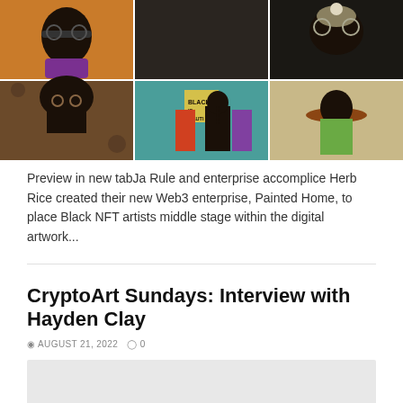[Figure (photo): Collage of six digital artworks showing Black NFT art pieces arranged in a 3x2 grid. Top left: figure with glasses on orange background. Top center and right: figure with ornate headdress on dark background. Bottom left: figure with afro on brown floral background. Bottom center: scene with 'Black is Beautiful' sign on teal background. Bottom right: figure with wide-brim hat on a tan/outdoor background.]
Preview in new tabJa Rule and enterprise accomplice Herb Rice created their new Web3 enterprise, Painted Home, to place Black NFT artists middle stage within the digital artwork...
CryptoArt Sundays: Interview with Hayden Clay
AUGUST 21, 2022   0
[Figure (photo): Partially visible image at bottom of page, light gray/white tones, cropped.]